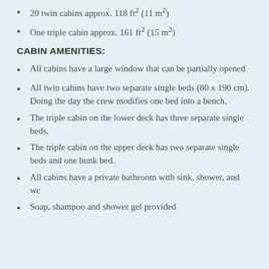20 twin cabins approx. 118 ft² (11 m²)
One triple cabin approx. 161 ft² (15 m²)
CABIN AMENITIES:
All cabins have a large window that can be partially opened
All twin cabins have two separate single beds (80 x 190 cm). Doing the day the crew modifies one bed into a bench.
The triple cabin on the lower deck has three separate single beds.
The triple cabin on the upper deck has two separate single beds and one bunk bed.
All cabins have a private bathroom with sink, shower, and wc
Soap, shampoo and shower gel provided